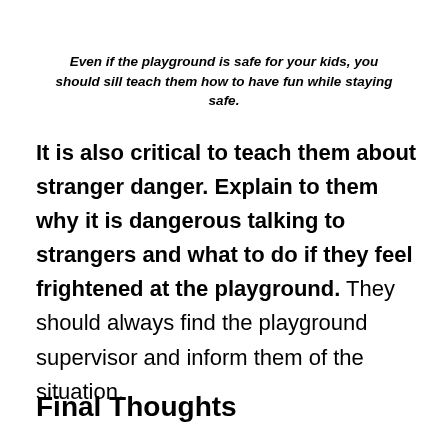Even if the playground is safe for your kids, you should sill teach them how to have fun while staying safe.
It is also critical to teach them about stranger danger. Explain to them why it is dangerous talking to strangers and what to do if they feel frightened at the playground. They should always find the playground supervisor and inform them of the situation.
Final Thoughts